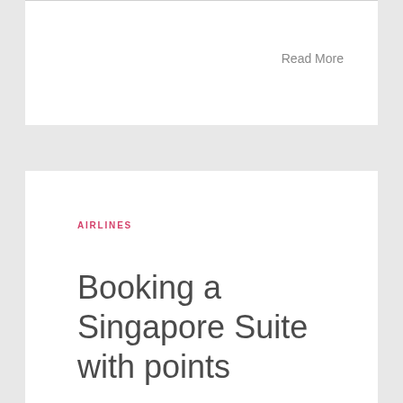Read More
AIRLINES
Booking a Singapore Suite with points
November 28, 2012
Tagged as: airlines, award, singapore, singapore